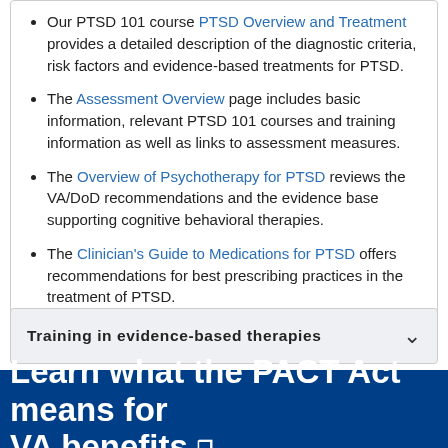Our PTSD 101 course PTSD Overview and Treatment provides a detailed description of the diagnostic criteria, risk factors and evidence-based treatments for PTSD.
The Assessment Overview page includes basic information, relevant PTSD 101 courses and training information as well as links to assessment measures.
The Overview of Psychotherapy for PTSD reviews the VA/DoD recommendations and the evidence base supporting cognitive behavioral therapies.
The Clinician's Guide to Medications for PTSD offers recommendations for best prescribing practices in the treatment of PTSD.
Training in evidence-based therapies
Treating Veterans
Learn what the PACT Act means for VA benefits